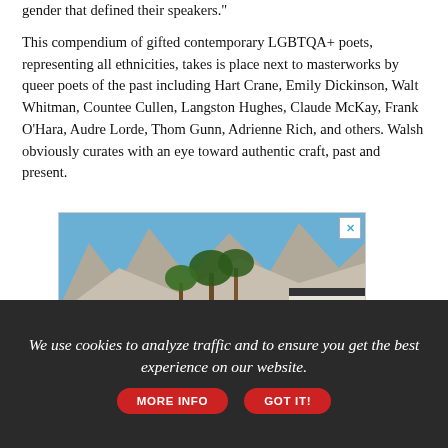gender that defined their speakers."
This compendium of gifted contemporary LGBTQA+ poets, representing all ethnicities, takes is place next to masterworks by queer poets of the past including Hart Crane, Emily Dickinson, Walt Whitman, Countee Cullen, Langston Hughes, Claude McKay, Frank O'Hara, Audre Lorde, Thom Gunn, Adrienne Rich, and others. Walsh obviously curates with an eye toward authentic craft, past and present.
[Figure (photo): Outdoor pool area with white umbrellas, palm trees, and mountains in the background — resort/hotel advertisement image]
We use cookies to analyze traffic and to ensure you get the best experience on our website. MORE INFO  GOT IT!